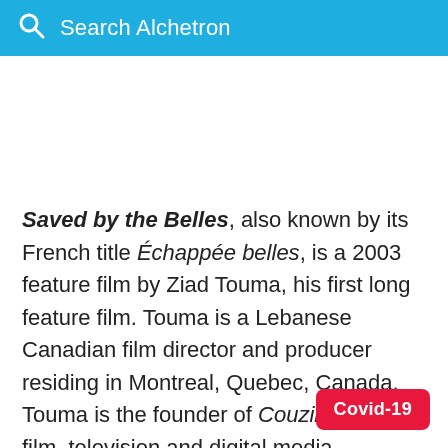Search Alchetron
Saved by the Belles, also known by its French title Échappée belles, is a 2003 feature film by Ziad Touma, his first long feature film. Touma is a Lebanese Canadian film director and producer residing in Montreal, Quebec, Canada. Touma is the founder of Couzin Films film, television and digital media production company and it was released through the company.
Covid-19